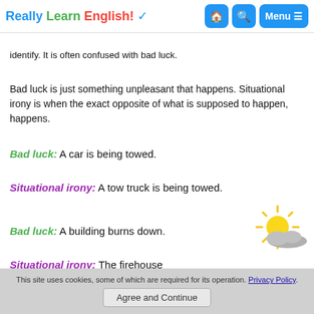Really Learn English! ✓
identify. It is often confused with bad luck.
Bad luck is just something unpleasant that happens. Situational irony is when the exact opposite of what is supposed to happen, happens.
Bad luck: A car is being towed.
Situational irony: A tow truck is being towed.
Bad luck: A building burns down.
Situational irony: The firehouse
[Figure (illustration): Sun and cloud illustration]
This site uses cookies, some of which are required for its operation. Privacy Policy.